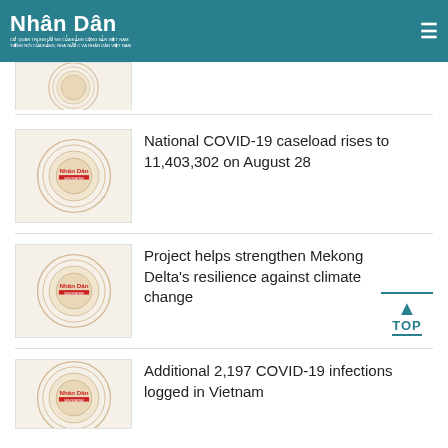Nhân Dân
[Figure (logo): Nhân Dân newspaper logo placeholder with circular seal]
National COVID-19 caseload rises to 11,403,302 on August 28
[Figure (photo): Nhân Dân logo placeholder circular seal]
Project helps strengthen Mekong Delta's resilience against climate change
[Figure (photo): Nhân Dân logo placeholder circular seal]
Additional 2,197 COVID-19 infections logged in Vietnam
[Figure (photo): Nhân Dân logo placeholder circular seal]